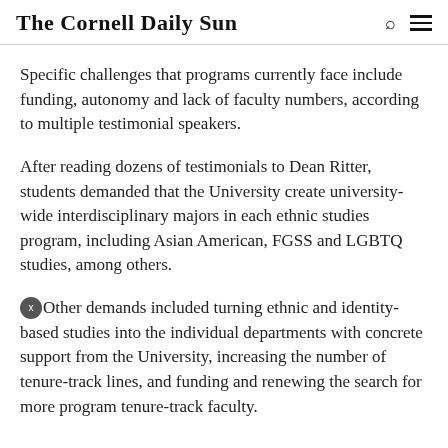The Cornell Daily Sun
Specific challenges that programs currently face include funding, autonomy and lack of faculty numbers, according to multiple testimonial speakers.
After reading dozens of testimonials to Dean Ritter, students demanded that the University create university-wide interdisciplinary majors in each ethnic studies program, including Asian American, FGSS and LGBTQ studies, among others.
Other demands included turning ethnic and identity-based studies into the individual departments with concrete support from the University, increasing the number of tenure-track lines, and funding and renewing the search for more program tenure-track faculty.